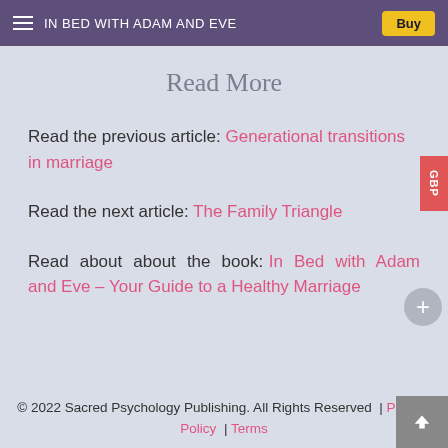IN BED WITH ADAM AND EVE   Buy
Read More
Read the previous article: Generational transitions in marriage
Read the next article: The Family Triangle
Read  about  about  the  book:  In  Bed  with  Adam and Eve – Your Guide to a Healthy Marriage
© 2022 Sacred Psychology Publishing. All Rights Reserved  |  Privacy Policy  |  Terms